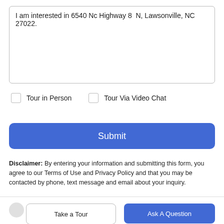I am interested in 6540 Nc Highway 8  N, Lawsonville, NC 27022.
Tour in Person
Tour Via Video Chat
Submit
Disclaimer: By entering your information and submitting this form, you agree to our Terms of Use and Privacy Policy and that you may be contacted by phone, text message and email about your inquiry.
Take a Tour
Ask A Question